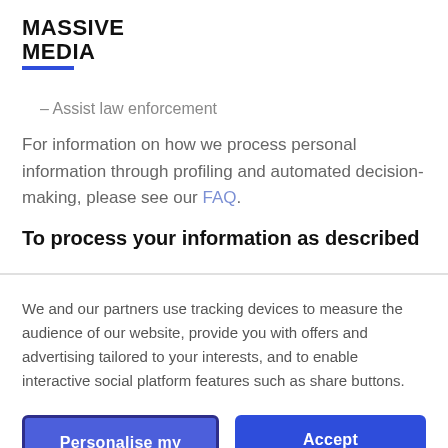MASSIVE MEDIA
Assist law enforcement
For information on how we process personal information through profiling and automated decision-making, please see our FAQ.
To process your information as described
We and our partners use tracking devices to measure the audience of our website, provide you with offers and advertising tailored to your interests, and to enable interactive social platform features such as share buttons.
Personalise my choices
Accept